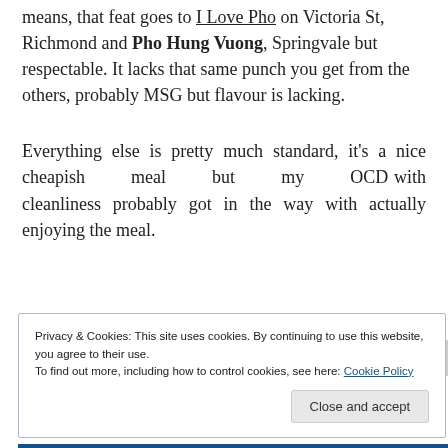means, that feat goes to I Love Pho on Victoria St, Richmond and Pho Hung Vuong, Springvale but respectable. It lacks that same punch you get from the others, probably MSG but flavour is lacking.
Everything else is pretty much standard, it's a nice cheapish meal but my OCD with cleanliness probably got in the way with actually enjoying the meal.
Privacy & Cookies: This site uses cookies. By continuing to use this website, you agree to their use.
To find out more, including how to control cookies, see here: Cookie Policy